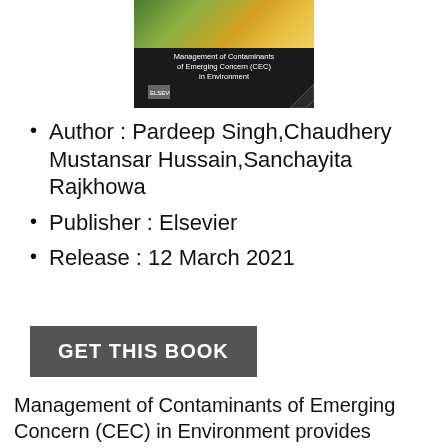[Figure (photo): Book cover of 'Management of Contaminants of Emerging Concern (CEC) in Environment' published by Elsevier, dark background with nature imagery at top]
Author : Pardeep Singh,Chaudhery Mustansar Hussain,Sanchayita Rajkhowa
Publisher : Elsevier
Release : 12 March 2021
GET THIS BOOK
Management of Contaminants of Emerging Concern (CEC) in Environment provides information about new concepts and latest developments in origin, reaction pathways, transportation, transformation products, identification, and adverse effects of CEC, as well as on to predicting technologies and